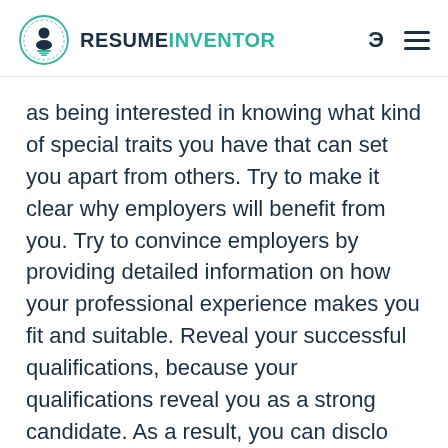RESUMEINVENTOR
as being interested in knowing what kind of special traits you have that can set you apart from others. Try to make it clear why employers will benefit from you. Try to convince employers by providing detailed information on how your professional experience makes you fit and suitable. Reveal your successful qualifications, because your qualifications reveal you as a strong candidate. As a result, you can disclo your professional identity as q unique and the best candidate.